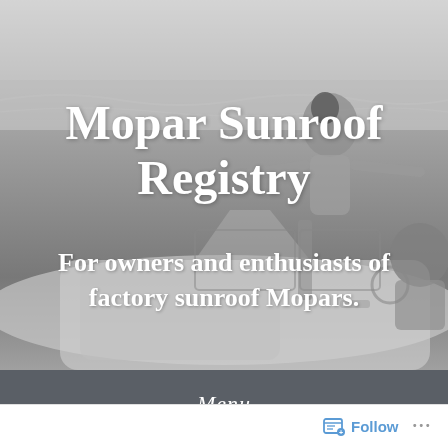[Figure (photo): Black and white photograph of a couple with a classic Mopar muscle car at the beach. A woman stands through the open sunroof, and a man sits in the driver's seat. Ocean waves visible in the background.]
Mopar Sunroof Registry
For owners and enthusiasts of factory sunroof Mopars.
Menu
Follow ...